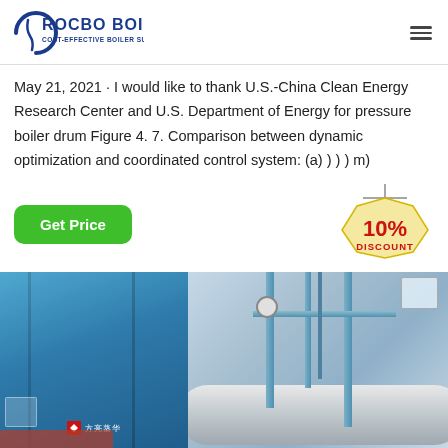ROCBO BOILER — COST-EFFECTIVE BOILER SUPPLIER
May 21, 2021 · I would like to thank U.S.-China Clean Energy Research Center and U.S. Department of Energy for pressure boiler drum Figure 4. 7. Comparison between dynamic optimization and coordinated control system: (a) ) ) ) m)
[Figure (other): Green 'Get Price' button and a 10% DISCOUNT badge graphic]
[Figure (photo): Industrial boiler room photo showing a large blue gas boiler on the left and piping/equipment on the right side of the room]